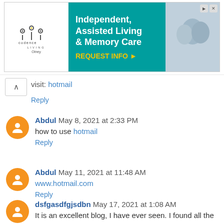[Figure (other): Advertisement banner for Codence Living Olney: Independent, Assisted Living & Memory Care with REQUEST INFO button]
visit: hotmail
Reply
Abdul May 8, 2021 at 2:33 PM
how to use hotmail
Reply
Abdul May 11, 2021 at 11:48 AM
www.hotmail.com
Reply
dsfgasdfgjsdbn May 17, 2021 at 1:08 AM
It is an excellent blog, I have ever seen. I found all the